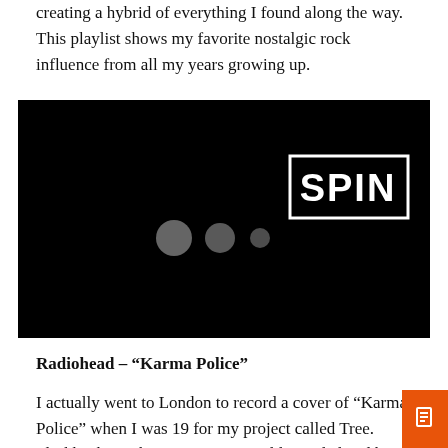creating a hybrid of everything I found along the way. This playlist shows my favorite nostalgic rock influence from all my years growing up.
[Figure (screenshot): Black video embed with SPIN logo in white text inside a white rectangle border, upper right. Three gray loading dots visible in the center of the black frame.]
Radiohead – “Karma Police”
I actually went to London to record a cover of “Karma Police” when I was 19 for my project called Tree. Flashback to when I was 8 years old, my dad and brother